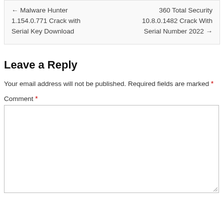← Malware Hunter 1.154.0.771 Crack with Serial Key Download    360 Total Security 10.8.0.1482 Crack With Serial Number 2022 →
Leave a Reply
Your email address will not be published. Required fields are marked *
Comment *